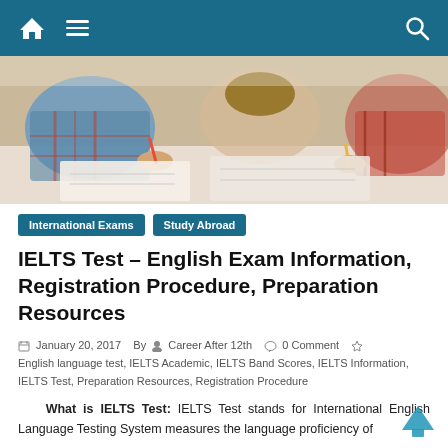Navigation bar with home icon, hamburger menu, and search icon
[Figure (photo): Students writing/studying at desks, top-down angle, warm classroom lighting]
International Exams   Study Abroad
IELTS Test – English Exam Information, Registration Procedure, Preparation Resources
January 20, 2017   By   Career After 12th   0 Comment   English language test, IELTS Academic, IELTS Band Scores, IELTS Information, IELTS Test, Preparation Resources, Registration Procedure
What is IELTS Test: IELTS Test stands for International English Language Testing System measures the language proficiency of